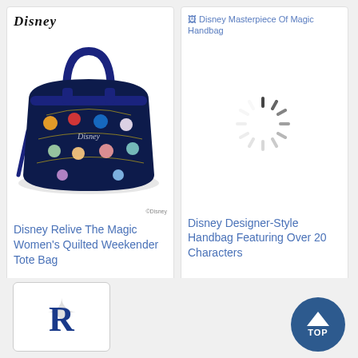[Figure (photo): Disney Relive The Magic Women's Quilted Weekender Tote Bag product photo — dark navy bag with Disney characters]
Disney Relive The Magic Women's Quilted Weekender Tote Bag
$179.99 CAD
[Figure (other): Broken image placeholder with loading spinner for Disney Masterpiece Of Magic Handbag]
Disney Designer-Style Handbag Featuring Over 20 Characters
$189.99 CAD
[Figure (logo): Retailer logo with large blue R letter and maple leaf watermark]
[Figure (other): Blue circular TOP button with upward arrow]